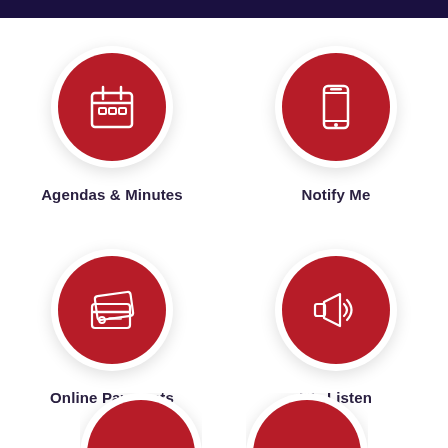[Figure (infographic): Dark navy top bar banner]
[Figure (infographic): Red circle icon with calendar symbol for Agendas & Minutes]
Agendas & Minutes
[Figure (infographic): Red circle icon with smartphone symbol for Notify Me]
Notify Me
[Figure (infographic): Red circle icon with credit card symbol for Online Payments]
Online Payments
[Figure (infographic): Red circle icon with megaphone symbol for We Listen]
We Listen
[Figure (infographic): Partially visible red circle icon at bottom left]
[Figure (infographic): Partially visible red circle icon at bottom right]